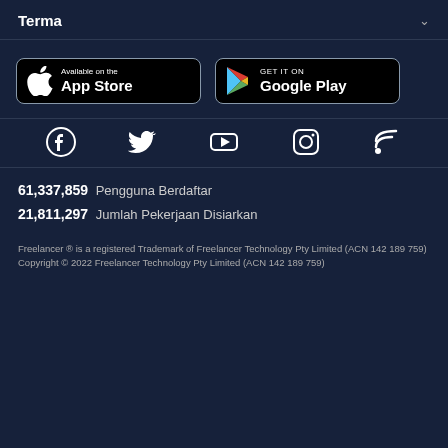Terma
[Figure (logo): App Store and Google Play store download buttons]
[Figure (infographic): Social media icons: Facebook, Twitter, YouTube, Instagram, RSS]
61,337,859  Pengguna Berdaftar
21,811,297  Jumlah Pekerjaan Disiarkan
Freelancer ® is a registered Trademark of Freelancer Technology Pty Limited (ACN 142 189 759)
Copyright © 2022 Freelancer Technology Pty Limited (ACN 142 189 759)